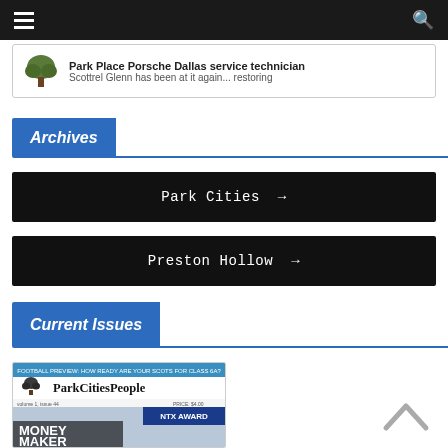Navigation bar with hamburger menu and search icon
Park Place Porsche Dallas service technician Scottrel Glenn has been at it again... restoring
Archives
Park Cities →
Preston Hollow →
Current Issues
[Figure (other): Park Cities People newspaper front page thumbnail showing FOOTBALL PREVIEW header, ParkCitiesPeople masthead, and MONEY MAKER headline]